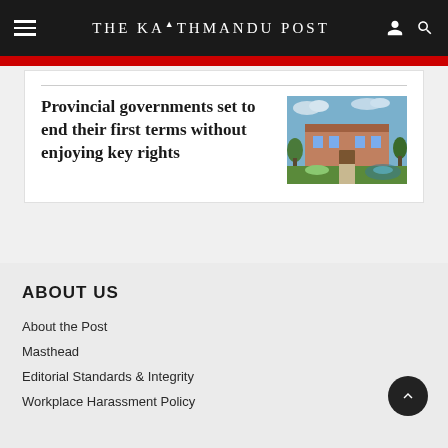THE KATHMANDU POST
Provincial governments set to end their first terms without enjoying key rights
[Figure (photo): Exterior photo of a provincial government building with garden and fountain]
ABOUT US
About the Post
Masthead
Editorial Standards & Integrity
Workplace Harassment Policy